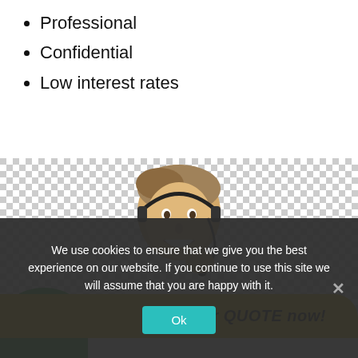Professional
Confidential
Low interest rates
[Figure (photo): Customer service representative man wearing a headset, smiling, on a transparent/checkered background. Below is a yellow CTA bar with a green phone circle icon on the left and bold text 'GET your QUOTE now!' on the right.]
We use cookies to ensure that we give you the best experience on our website. If you continue to use this site we will assume that you are happy with it.